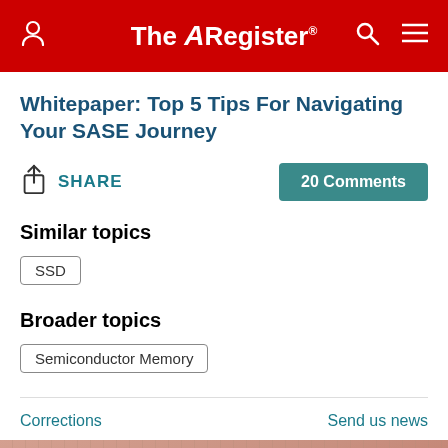The Register
Whitepaper: Top 5 Tips For Navigating Your SASE Journey
SHARE   20 Comments
Similar topics
SSD
Broader topics
Semiconductor Memory
Corrections   Send us news
[Figure (photo): Bottom partial image showing what appears to be integrated circuit chips on a reddish-pink background with grid pattern]